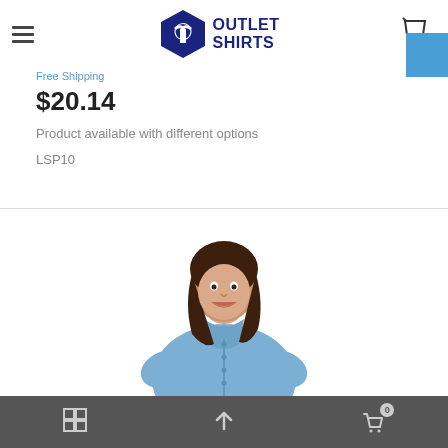Outlet Shirts — Ladies Long Sleeve...
$20.14
Product available with different options
LSP10
[Figure (photo): Woman wearing a light blue short-sleeve chambray button-up shirt, smiling, on white background]
Navigation bar with grid view, up arrow, and cart icon with badge 0